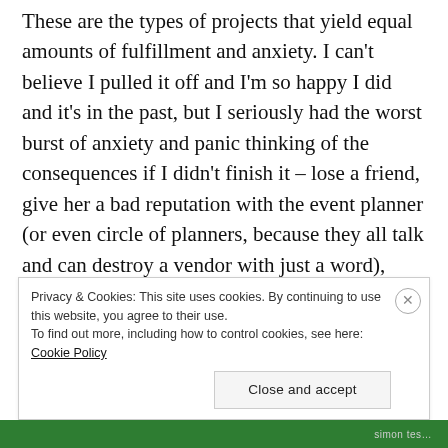These are the types of projects that yield equal amounts of fulfillment and anxiety. I can't believe I pulled it off and I'm so happy I did and it's in the past, but I seriously had the worst burst of anxiety and panic thinking of the consequences if I didn't finish it – lose a friend, give her a bad reputation with the event planner (or even circle of planners, because they all talk and can destroy a vendor with just a word), "ruin a bride's wedding day" because everything is so high stakes in that emotional "best/biggest day" of the couple's lives… I'm surprised I didn't need a defibrillator with
Privacy & Cookies: This site uses cookies. By continuing to use this website, you agree to their use.
To find out more, including how to control cookies, see here: Cookie Policy
Close and accept